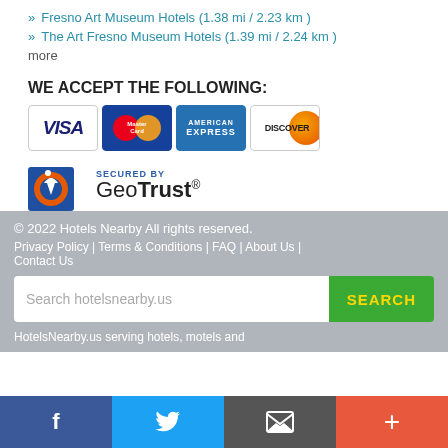» Fresno Art Museum Hotels (1.38 mi / 2.23 km )
» The Art Fresno Museum Hotels (1.39 mi / 2.24 km )
more
WE ACCEPT THE FOLLOWING:
[Figure (logo): Payment card logos: Visa, MasterCard, American Express, Discover]
[Figure (logo): Secured by GeoTrust logo]
© 2022 Hotels Nearby All rights reserved. Privacy Policy | Terms & Conditions | FAQ | About Us | Contact Us
Search hotelsnearby.us
HotelsNearby.us serving hotels, motels and